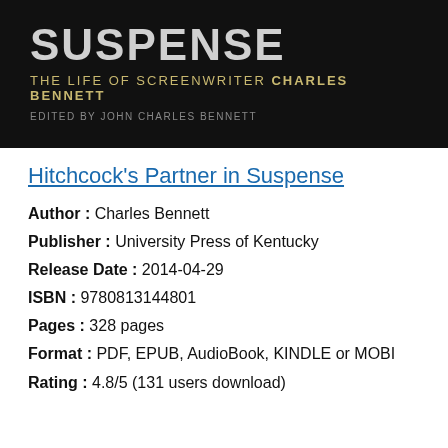[Figure (illustration): Book cover image for 'Hitchcock's Partner in Suspense: The Life of Screenwriter Charles Bennett', edited by John Charles Bennett. Dark/black background with large bold grey text for 'SUSPENSE', golden subtitle text, and grey editor credit.]
Hitchcock's Partner in Suspense
Author : Charles Bennett
Publisher : University Press of Kentucky
Release Date : 2014-04-29
ISBN : 9780813144801
Pages : 328 pages
Format : PDF, EPUB, AudioBook, KINDLE or MOBI
Rating : 4.8/5 (131 users download)